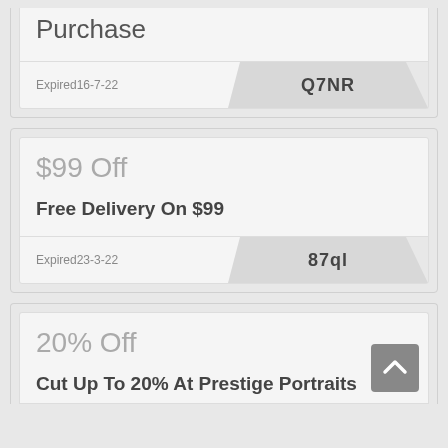Purchase
Expired16-7-22
Q7NR
$99 Off
Free Delivery On $99
Expired23-3-22
87ql
20% Off
Cut Up To 20% At Prestige Portraits